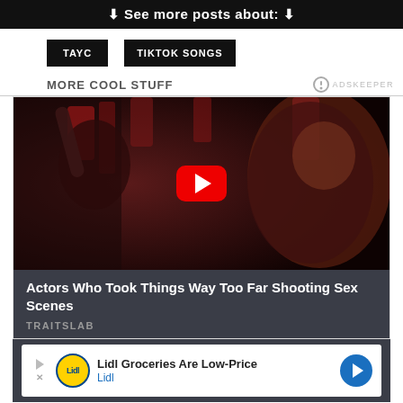⬇ See more posts about: ⬇
TAYC
TIKTOK SONGS
MORE COOL STUFF
[Figure (screenshot): Video thumbnail showing two people in a dramatic scene with red lighting, overlaid with a YouTube-style red play button]
Actors Who Took Things Way Too Far Shooting Sex Scenes
TRAITSLAB
[Figure (infographic): Advertisement banner: Lidl Groceries Are Low-Price - Lidl, with Lidl logo and blue arrow button]